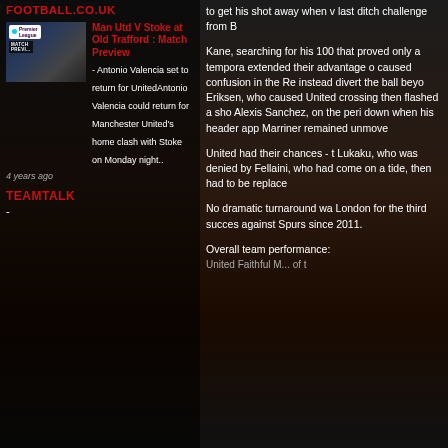FOOTBALL.CO.UK
Man Utd V Stoke at Old Trafford : Match Preview - Antonio Valencia set to return for UnitedAntonio Valencia could return for Manchester United's home clash with Stoke on Monday night..
4 years ago
TEAMTALK
-
to get his shot away when v last ditch challenge from B
Kane, searching for his 100 that proved only a tempora extended their advantage o caused confusion in the Re instead divert the ball beyo Eriksen, who caused United crossing then flashed a sho Alexis Sanchez, on the peri down when his header app Marriner remained unmove
United had their chances - t Lukaku, who was denied by Fellaini, who had come on a tide, then had to be replace
No dramatic turnaround wa London for the third succes against Spurs since 2011.
Overall team performance: United Faithful M... of t